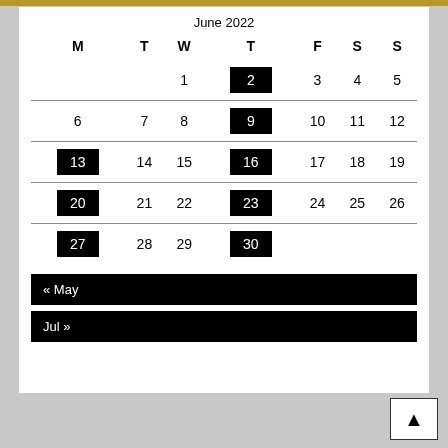| M | T | W | T | F | S | S |
| --- | --- | --- | --- | --- | --- | --- |
|  |  | 1 | 2 | 3 | 4 | 5 |
| 6 | 7 | 8 | 9 | 10 | 11 | 12 |
| 13 | 14 | 15 | 16 | 17 | 18 | 19 |
| 20 | 21 | 22 | 23 | 24 | 25 | 26 |
| 27 | 28 | 29 | 30 |  |  |  |
« May
Jul »